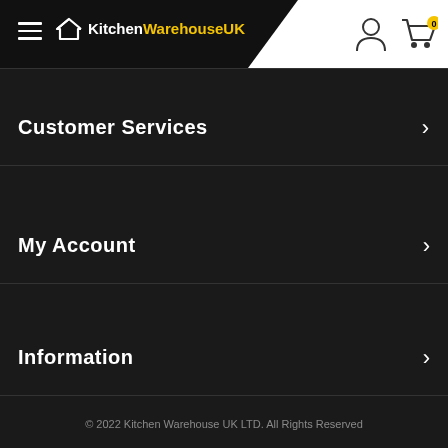[Figure (logo): KitchenWarehouseUK logo with house icon, white and yellow text on dark header]
Customer Services
My Account
Information
Contact Us
© 2022 Kitchen Warehouse UK LTD. All Rights Reserved